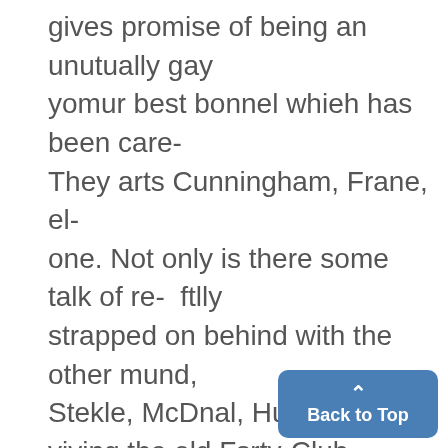gives promise of being an unutually gay yomur best bonnel whieh has been care- They arts Cunningham, Frane, el- one. Not only is there some talk of re- ftlly strapped on behind with the other mund, Stekle, McDnal, Hugh Whie, viving the old Fsrty-Club sarties, whose lsuggage. Snow, ff11, Street, McLean, Sweele, cessation caused a serious gap in lasItn going from Hjele to Merk, we Keena, Rihardsn, Bareus, Dikey, years festivities, but a ncw cliqu agged up a seep mouanan road
Back to Top